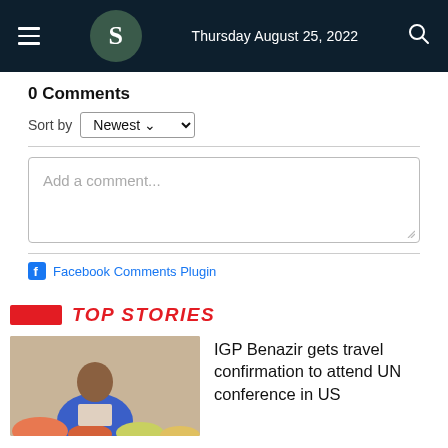Thursday August 25, 2022
0 Comments
Sort by Newest
Add a comment...
Facebook Comments Plugin
Top Stories
[Figure (photo): Man speaking at a podium with flowers in the foreground]
IGP Benazir gets travel confirmation to attend UN conference in US